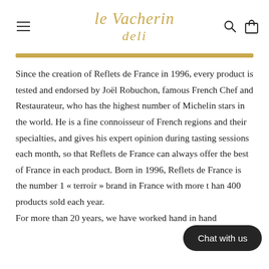[Figure (logo): Le Vacherin Deli logo in gold italic script]
Since the creation of Reflets de France in 1996, every product is tested and endorsed by Joël Robuchon, famous French Chef and Restaurateur, who has the highest number of Michelin stars in the world. He is a fine connoisseur of French regions and their specialties, and gives his expert opinion during tasting sessions each month, so that Reflets de France can always offer the best of France in each product. Born in 1996, Reflets de France is the number 1 « terroir » brand in France with more than 400 products sold each year.
For more than 20 years, we have worked hand in hand